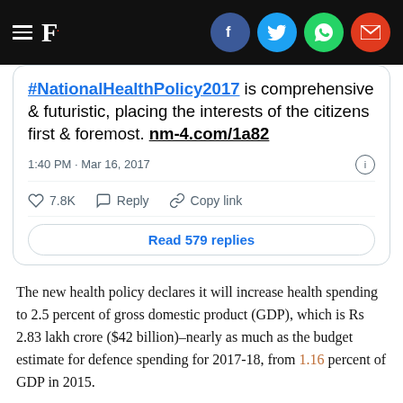F. [navigation bar with social icons]
[Figure (screenshot): Tweet screenshot: #NationalHealthPolicy2017 is comprehensive & futuristic, placing the interests of the citizens first & foremost. nm-4.com/1a82 — 1:40 PM · Mar 16, 2017 · 7.8K likes · Reply · Copy link · Read 579 replies]
The new health policy declares it will increase health spending to 2.5 percent of gross domestic product (GDP), which is Rs 2.83 lakh crore ($42 billion)–nearly as much as the budget estimate for defence spending for 2017-18, from 1.16 percent of GDP in 2015.